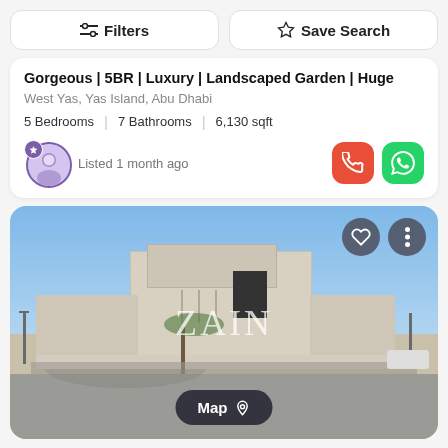[Figure (screenshot): Filters and Save Search buttons]
Gorgeous | 5BR | Luxury | Landscaped Garden | Huge
West Yas, Yas Island, Abu Dhabi
5 Bedrooms | 7 Bathrooms | 6,130 sqft
Listed 1 month ago
[Figure (photo): Exterior photo of a modern luxury villa/townhouse in West Yas, Yas Island. The building is a contemporary white/beige structure with geometric design. 'ZAIN' watermark in white letters in the center. A 'Map' button with location pin icon appears at the bottom center. Heart and more-options icons appear in the top right.]